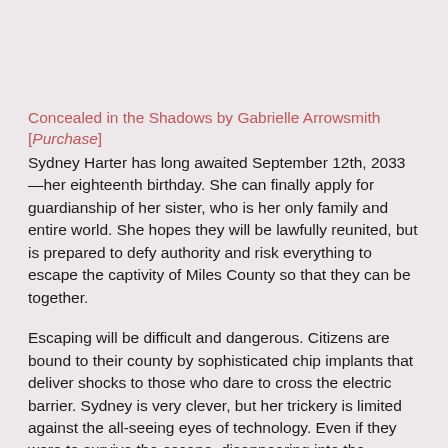Concealed in the Shadows by Gabrielle Arrowsmith [Purchase]
Sydney Harter has long awaited September 12th, 2033—her eighteenth birthday. She can finally apply for guardianship of her sister, who is her only family and entire world. She hopes they will be lawfully reunited, but is prepared to defy authority and risk everything to escape the captivity of Miles County so that they can be together.
Escaping will be difficult and dangerous. Citizens are bound to their county by sophisticated chip implants that deliver shocks to those who dare to cross the electric barrier. Sydney is very clever, but her trickery is limited against the all-seeing eyes of technology. Even if they were to survive the escape, disappearing into the forgotten forests and towns of the past seems an impossible task.